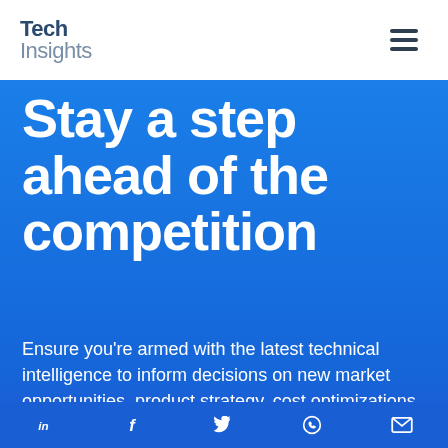Tech Insights
Stay a step ahead of the competition
Ensure you're armed with the latest technical intelligence to inform decisions on new market opportunities, product strategy, cost optimizations, and more.
Social icons: LinkedIn, Facebook, Twitter, WhatsApp, Email